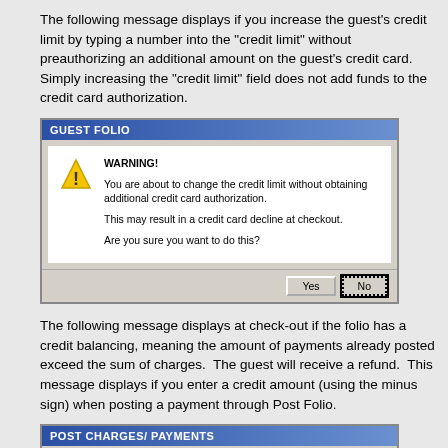The following message displays if you increase the guest's credit limit by typing a number into the "credit limit" without preauthorizing an additional amount on the guest's credit card. Simply increasing the "credit limit" field does not add funds to the credit card authorization.
[Figure (screenshot): GUEST FOLIO dialog box with a warning message: WARNING! You are about to change the credit limit without obtaining additional credit card authorization. This may result in a credit card decline at checkout. Are you sure you want to do this? With Yes and No buttons.]
The following message displays at check-out if the folio has a credit balancing, meaning the amount of payments already posted exceed the sum of charges.  The guest will receive a refund.  This message displays if you enter a credit amount (using the minus sign) when posting a payment through Post Folio.
[Figure (screenshot): POST CHARGES/ PAYMENTS dialog box with a warning: Warning! You are about to issue a REFUND to this guest's credit card ('-' entered in amount). Are you sure you wish to do this?]